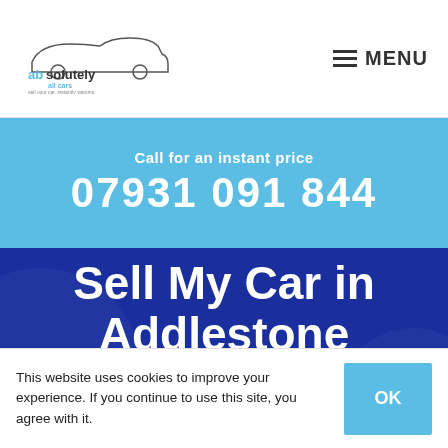[Figure (logo): Absolutely All Cars logo with car silhouette and tagline 'sell your car, instantly wanting']
MENU
Call for an instant price
07931 091 844
Sell My Car in Addlestone
So if you are looking to sell your car in Addlestone let us give you a quote today
This website uses cookies to improve your experience. If you continue to use this site, you agree with it.
OK